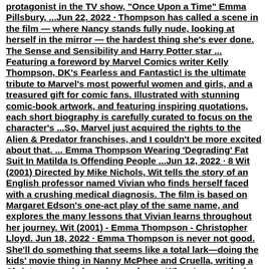protagonist in the TV show, "Once Upon a Time" Emma Pillsbury, ...Jun 22, 2022 · Thompson has called a scene in the film — where Nancy stands fully nude, looking at herself in the mirror — the hardest thing she's ever done. The Sense and Sensibility and Harry Potter star ... Featuring a foreword by Marvel Comics writer Kelly Thompson, DK's Fearless and Fantastic! is the ultimate tribute to Marvel's most powerful women and girls, and a treasured gift for comic fans. Illustrated with stunning comic-book artwork, and featuring inspiring quotations, each short biography is carefully curated to focus on the character's ...So, Marvel just acquired the rights to the Alien & Predator franchises, and I couldn't be more excited about that. ... Emma Thompson Wearing 'Degrading' Fat Suit In Matilda Is Offending People ...Jun 12, 2022 · 8 Wit (2001) Directed by Mike Nichols, Wit tells the story of an English professor named Vivian who finds herself faced with a crushing medical diagnosis. The film is based on Margaret Edson's one-act play of the same name, and explores the many lessons that Vivian learns throughout her journey. Wit (2001) - Emma Thompson - Christopher Lloyd. Jun 18, 2022 · Emma Thompson is never not good. She'll do something that seems like a total lark—doing the kids' movie thing in Nanny McPhee and Cruella, writing a Christmas movie based on a cheesy Wham! song, playing a late-night talk show host in a Mindy Kaling movie —and be utterly brilliant. In the